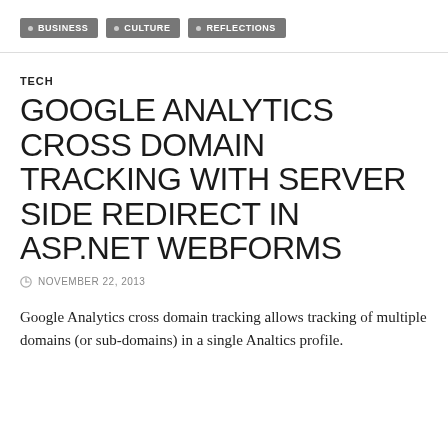• BUSINESS  • CULTURE  • REFLECTIONS
TECH
GOOGLE ANALYTICS CROSS DOMAIN TRACKING WITH SERVER SIDE REDIRECT IN ASP.NET WEBFORMS
NOVEMBER 22, 2013
Google Analytics cross domain tracking allows tracking of multiple domains (or sub-domains) in a single Analtics profile.